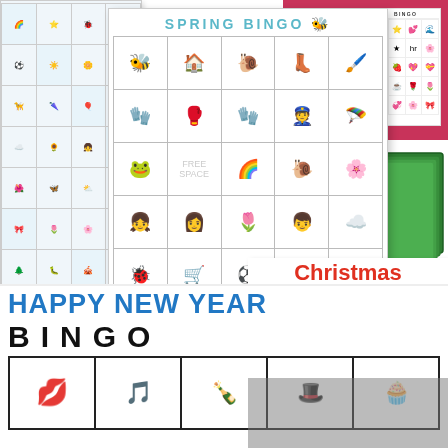[Figure (illustration): Left bingo card with cute character illustrations in a 4-column grid, blue and white color scheme]
[Figure (illustration): Spring Bingo card in center with title 'SPRING BINGO' and 5x5 grid of cute spring-themed illustrations (bee, birdhouse, snail, boots, frog, baseball mitt, gloves, policeman, dragonfly, hat, rainbows, girl, boy, flower, cloud, ladybug, wheelbarrow, soccer ball, sun, fork)]
[Figure (illustration): Top right area showing mini Valentine/holiday bingo cards on pink/red background with small illustrated grids]
[Figure (illustration): Stacked green cards suggesting multiple bingo card sheets]
Christmas BINGO
[Figure (illustration): Christmas Bingo card grid with Christmas-themed illustrations: tree, sleigh, gingerbread house, sweater, star, snowman, train, snowflake, FREE, elf, candy cane, ornament, Santa, holly, apple]
HAPPY NEW YEAR BINGO
[Figure (illustration): Happy New Year Bingo card row showing lips, music notes, bottle, top hat boy, and cupcake illustrations]